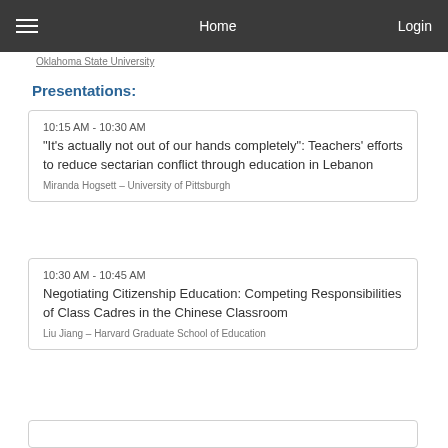Home | Login
Oklahoma State University
Presentations:
10:15 AM - 10:30 AM
“It’s actually not out of our hands completely”: Teachers’ efforts to reduce sectarian conflict through education in Lebanon
Miranda Hogsett – University of Pittsburgh
10:30 AM - 10:45 AM
Negotiating Citizenship Education: Competing Responsibilities of Class Cadres in the Chinese Classroom
Liu Jiang – Harvard Graduate School of Education